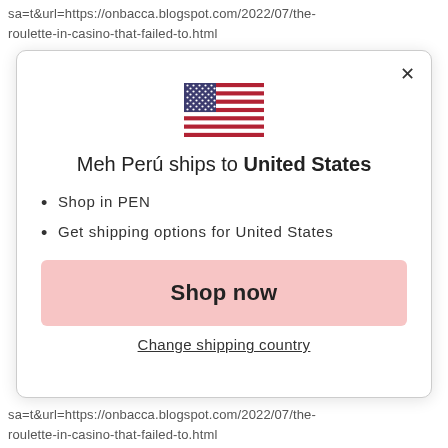sa=t&url=https://onbacca.blogspot.com/2022/07/the-roulette-in-casino-that-failed-to.html
[Figure (illustration): US flag emoji]
Meh Perú ships to United States
Shop in PEN
Get shipping options for United States
Shop now
Change shipping country
sa=t&url=https://onbacca.blogspot.com/2022/07/the-roulette-in-casino-that-failed-to.html